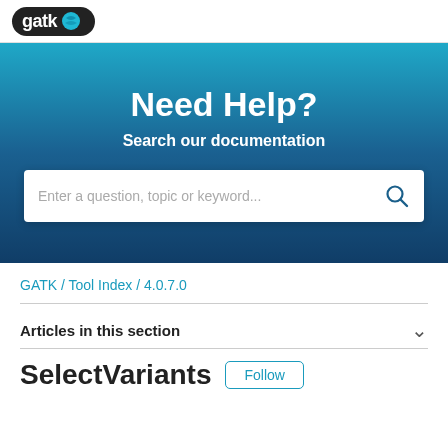gatk [logo]
[Figure (screenshot): GATK help center hero banner with 'Need Help?' heading, 'Search our documentation' subheading, and a search input box reading 'Enter a question, topic or keyword...' with a search icon.]
GATK / Tool Index / 4.0.7.0
Articles in this section
SelectVariants